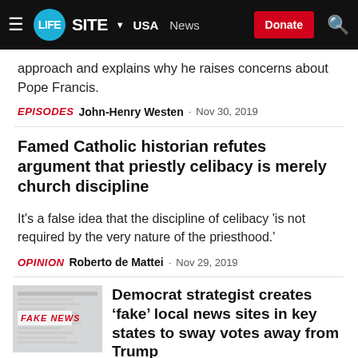LifeSite · USA · News · Donate
approach and explains why he raises concerns about Pope Francis.
EPISODES  John-Henry Westen · Nov 30, 2019
Famed Catholic historian refutes argument that priestly celibacy is merely church discipline
It's a false idea that the discipline of celibacy 'is not required by the very nature of the priesthood.'
OPINION  Roberto de Mattei · Nov 29, 2019
Democrat strategist creates 'fake' local news sites in key states to sway votes away from Trump